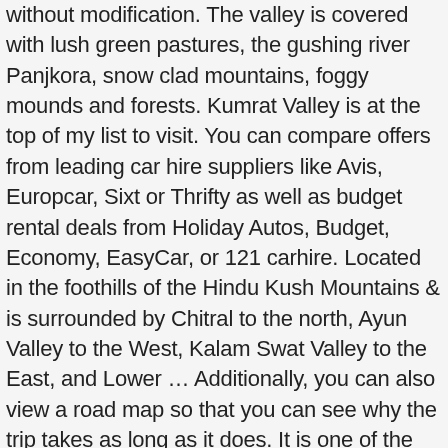without modification. The valley is covered with lush green pastures, the gushing river Panjkora, snow clad mountains, foggy mounds and forests. Kumrat Valley is at the top of my list to visit. You can compare offers from leading car hire suppliers like Avis, Europcar, Sixt or Thrifty as well as budget rental deals from Holiday Autos, Budget, Economy, EasyCar, or 121 carhire. Located in the foothills of the Hindu Kush Mountains & is surrounded by Chitral to the north, Ayun Valley to the West, Kalam Swat Valley to the East, and Lower … Additionally, you can also view a road map so that you can see why the trip takes as long as it does. It is one of the scenic valleys of Khyber Pakhtunkhwa and a picturesque spot for travelers. Kumrat is a valley in the Upper Dir District, Khyber Pakhtunkhwa Pakistan almost 400km, 9 hours drive from the capital territory of Pakistan. The easiest route to reach Kumrat Valley is through Timargarha. You may want to know the distances from Lahore to Kumrat Valley? Kumrat Valley is a charming valley in Upper Dir district of KPK province in Pakistan. See Kumrat photos and images from